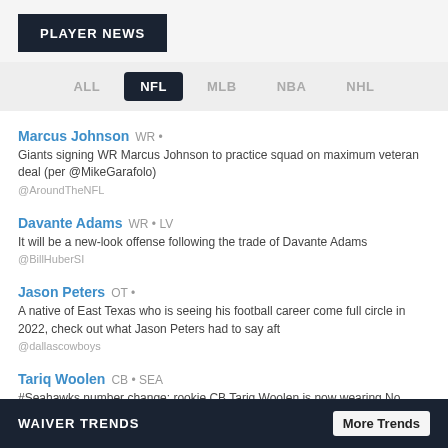PLAYER NEWS
ALL  NFL  MLB  NBA  NHL
Marcus Johnson  WR •
Giants signing WR Marcus Johnson to practice squad on maximum veteran deal (per @MikeGarafolo)
@AroundTheNFL
Davante Adams  WR • LV
It will be a new-look offense following the trade of Davante Adams
@BillHuberSI
Jason Peters  OT •
A native of East Texas who is seeing his football career come full circle in 2022, check out what Jason Peters had to say aft
@dallascowboys
Tariq Woolen  CB • SEA
#Seahawks number change: rookie CB Tariq Woolen is now wearing No
@johnnboyle
WAIVER TRENDS    More Trends